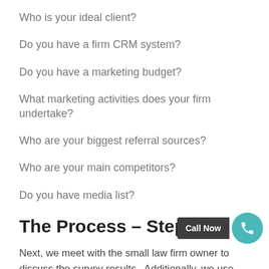Who is your ideal client?
Do you have a firm CRM system?
Do you have a marketing budget?
What marketing activities does your firm undertake?
Who are your biggest referral sources?
Who are your main competitors?
Do you have media list?
The Process – Step 3
Next, we meet with the small law firm owner to discuss the survey results.  Additionally, we use this meeting to dig deeper into his or her goals, expectations, and to glean all other pertinent information.  These meetings